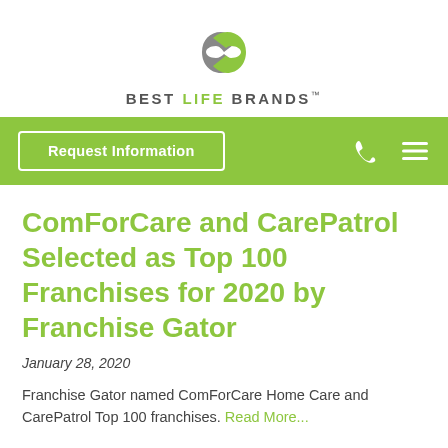[Figure (logo): Best Life Brands logo — infinity symbol in gray and green, with text BEST LIFE BRANDS below]
[Figure (screenshot): Green navigation bar with 'Request Information' button, phone icon, and hamburger menu icon]
ComForCare and CarePatrol Selected as Top 100 Franchises for 2020 by Franchise Gator
January 28, 2020
Franchise Gator named ComForCare Home Care and CarePatrol Top 100 franchises. Read More...